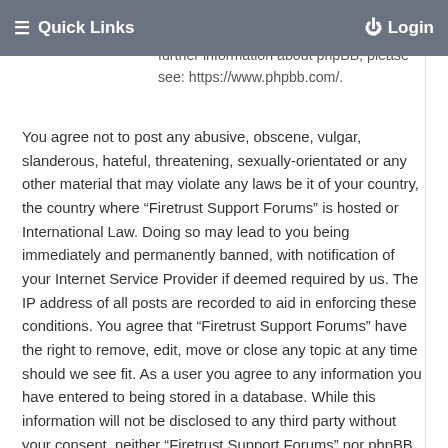≡ Quick Links   ⏻ Login
what we allow and/or disallow as permissible content and conduct. For further information about phpBB, please see: https://www.phpbb.com/.
You agree not to post any abusive, obscene, vulgar, slanderous, hateful, threatening, sexually-orientated or any other material that may violate any laws be it of your country, the country where “Firetrust Support Forums” is hosted or International Law. Doing so may lead to you being immediately and permanently banned, with notification of your Internet Service Provider if deemed required by us. The IP address of all posts are recorded to aid in enforcing these conditions. You agree that “Firetrust Support Forums” have the right to remove, edit, move or close any topic at any time should we see fit. As a user you agree to any information you have entered to being stored in a database. While this information will not be disclosed to any third party without your consent, neither “Firetrust Support Forums” nor phpBB shall